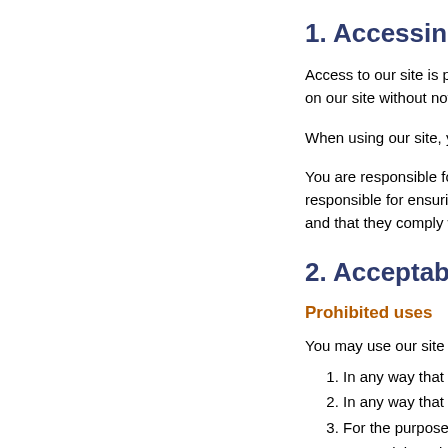1. Accessing our site
Access to our site is permitted on a temporary basis, and we provide on our site without notice. We will not be liable if for a any period.
When using our site, you must comply with the provisions of o
You are responsible for making all arrangements necessary f responsible for ensuring that all persons who access our site terms, and that they comply with them.
2. Acceptable use policy
Prohibited uses
You may use our site only for lawful purposes. You may not u
In any way that breaches any applicable local, national o
In any way that is unlawful or fraudulent, or has any unla
For the purpose of harming or attempting to harm any pe
To send, knowingly receive, upload, download, use or re-
To transmit, or procure the sending of, any unsolicited or any other form of similar solicitation.
You also agree:
Not to reproduce, duplicate, copy, edit or re-sell any part website terms of use.
Not to access without authority, interfere with, damage o